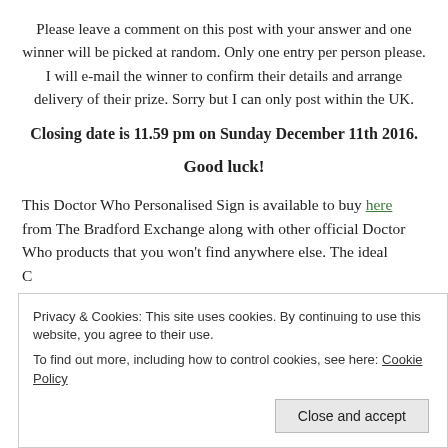Please leave a comment on this post with your answer and one winner will be picked at random. Only one entry per person please. I will e-mail the winner to confirm their details and arrange delivery of their prize. Sorry but I can only post within the UK.
Closing date is 11.59 pm on Sunday December 11th 2016.
Good luck!
This Doctor Who Personalised Sign is available to buy here from The Bradford Exchange along with other official Doctor Who products that you won't find anywhere else. The ideal
Privacy & Cookies: This site uses cookies. By continuing to use this website, you agree to their use.
To find out more, including how to control cookies, see here: Cookie Policy
Close and accept